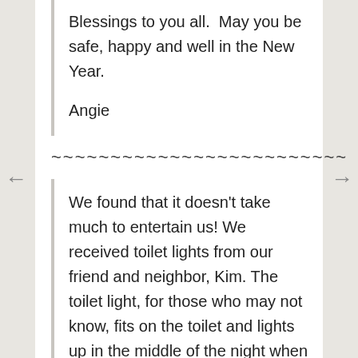Blessings to you all.  May you be safe, happy and well in the New Year.

Angie
~~~~~~~~~~~~~~~~~~~~~~~~~
We found that it doesn't take much to entertain us! We received toilet lights from our friend and neighbor, Kim. The toilet light, for those who may not know, fits on the toilet and lights up in the middle of the night when you go to the bathroom. It even changes colors! So this was one of our favorite gifts. And another favorite was from Peggy. She had a jigsaw puzzle made from